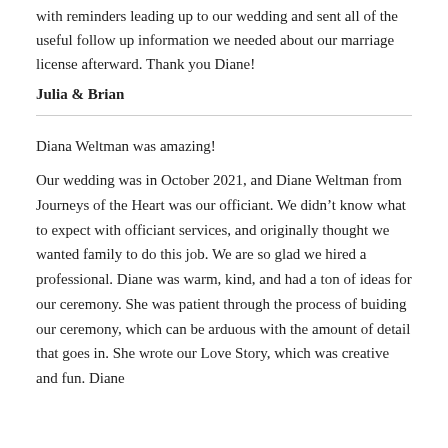with reminders leading up to our wedding and sent all of the useful follow up information we needed about our marriage license afterward. Thank you Diane!
Julia & Brian
Diana Weltman was amazing!
Our wedding was in October 2021, and Diane Weltman from Journeys of the Heart was our officiant. We didn't know what to expect with officiant services, and originally thought we wanted family to do this job. We are so glad we hired a professional. Diane was warm, kind, and had a ton of ideas for our ceremony. She was patient through the process of buiding our ceremony, which can be arduous with the amount of detail that goes in. She wrote our Love Story, which was creative and fun. Diane